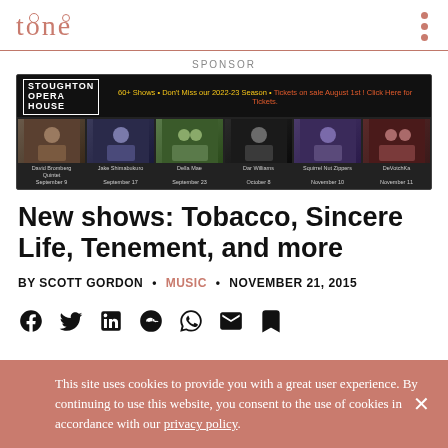tone
SPONSOR
[Figure (photo): Stoughton Opera House advertisement banner showing 60+ Shows - Don't Miss our 2022-23 Season. Features photos of David Bromberg Quintet (September 9), Jake Shimabukuro (September 17), Della Mae (September 23), Dar Williams (October 8), Squirrel Nut Zippers (November 10), DeVotchKa (November 11).]
New shows: Tobacco, Sincere Life, Tenement, and more
BY SCOTT GORDON • MUSIC • NOVEMBER 21, 2015
[Figure (infographic): Social share icons: Facebook, Twitter, LinkedIn, Reddit, WhatsApp, Email, Bookmark]
This site uses cookies to provide you with a great user experience. By continuing to use this website, you consent to the use of cookies in accordance with our privacy policy.